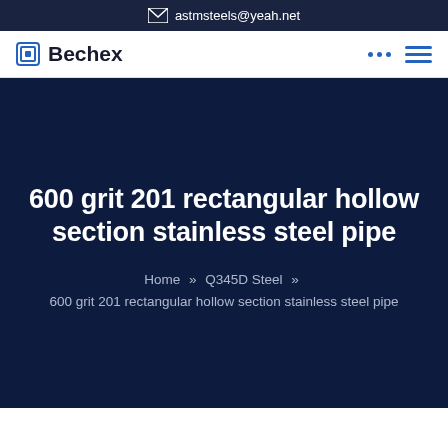astmsteels@yeah.net
[Figure (logo): Bechex logo with blue square icon and bold text]
600 grit 201 rectangular hollow section stainless steel pipe
Home » Q345D Steel » 600 grit 201 rectangular hollow section stainless steel pipe